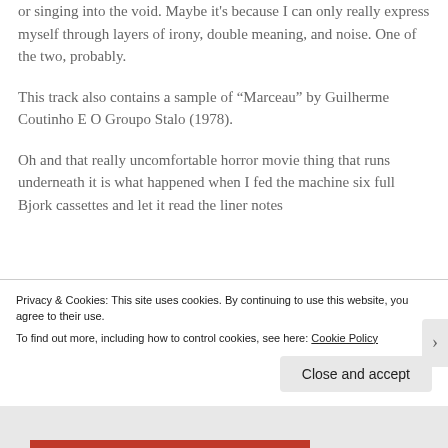for making it sound like robots were rapping or singing into the void. Maybe it’s because I can only really express myself through layers of irony, double meaning, and noise. One of the two, probably.
This track also contains a sample of “Marceau” by Guilherme Coutinho E O Groupo Stalo (1978).
Oh and that really uncomfortable horror movie thing that runs underneath it is what happened when I fed the machine six full Bjork cassettes and let it read the liner notes
Privacy & Cookies: This site uses cookies. By continuing to use this website, you agree to their use.
To find out more, including how to control cookies, see here: Cookie Policy